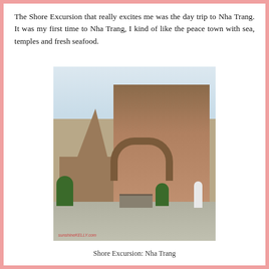The Shore Excursion that really excites me was the day trip to Nha Trang. It was my first time to Nha Trang, I kind of like the peace town with sea, temples and fresh seafood.
[Figure (photo): Photo of ancient Cham towers/temple in Nha Trang, Vietnam. A tall pyramidal brick spire on the left, ornate temple entrance with arched doorway on the right, green plants and a person in white clothing in the foreground. Watermark: sunshineKELLY.com]
Shore Excursion: Nha Trang